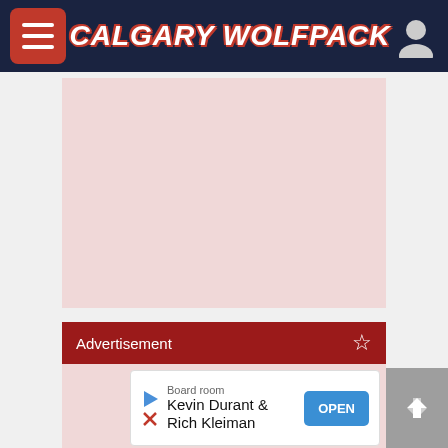CALGARY WOLFPACK
[Figure (other): Pink/rose colored advertisement placeholder box]
Advertisement
[Figure (other): Pink/rose colored advertisement placeholder area]
[Figure (other): Board room advertisement banner with Kevin Durant & Rich Kleiman text and OPEN button]